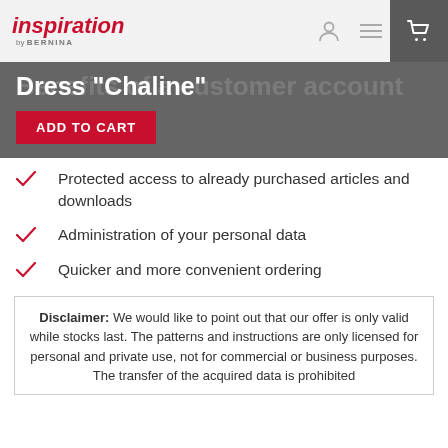inspiration by BERNINA
Dress "Chaline"
ADD TO CART
Protected access to already purchased articles and downloads
Administration of your personal data
Quicker and more convenient ordering
Disclaimer: We would like to point out that our offer is only valid while stocks last. The patterns and instructions are only licensed for personal and private use, not for commercial or business purposes. The transfer of the acquired data is prohibited